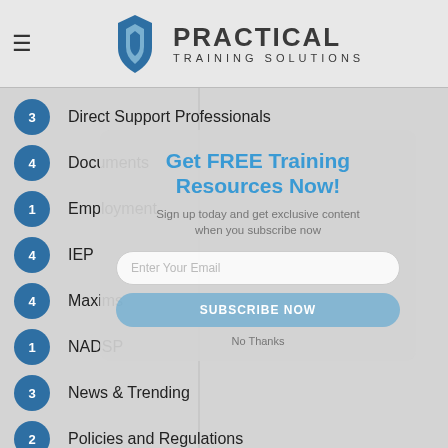Practical Training Solutions
3 Direct Support Professionals
4 Documents
1 Employment
4 IEP
4 Maxims
1 NADSP
3 News & Trending
2 Policies and Regulations
3 Positive Behavior Support
1 Practices
11 Principles and Practices of Direct Support
1 Q & A
[Figure (screenshot): Popup modal overlay: 'Get FREE Training Resources Now!' with email subscription form, Subscribe Now button, and No Thanks link]